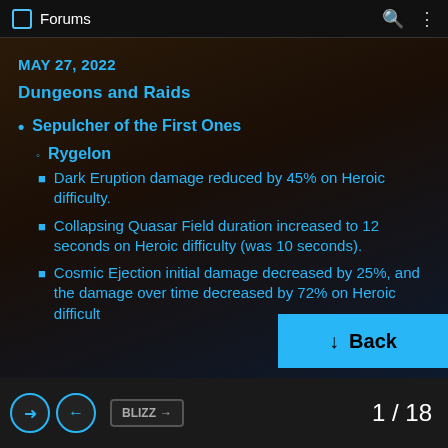Forums
MAY 27, 2022
Dungeons and Raids
Sepulcher of the First Ones
Rygelon
Dark Eruption damage reduced by 45% on Heroic difficulty.
Collapsing Quasar Field duration increased to 12 seconds on Heroic difficulty (was 10 seconds).
Cosmic Ejection initial damage decreased by 25%, and the damage over time decreased by 72% on Heroic difficulty
1 / 18